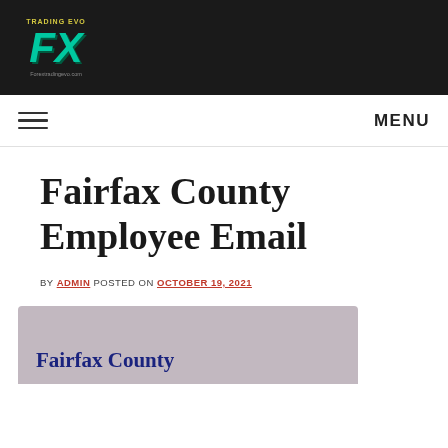[Figure (logo): Trading EVO FX logo with teal italic FX letters on dark background]
MENU
Fairfax County Employee Email
BY ADMIN POSTED ON OCTOBER 19, 2021
[Figure (illustration): Fairfax County Employee Email featured image with blue bold text on mauve/taupe background]